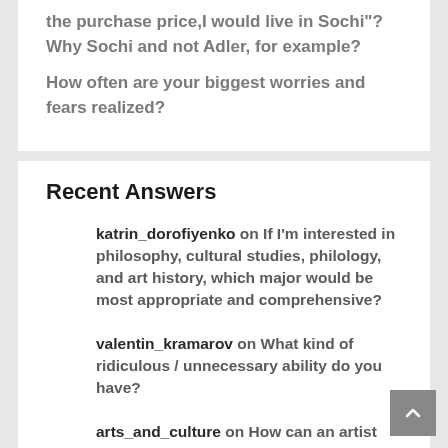the purchase price,I would live in Sochi"? Why Sochi and not Adler, for example?
How often are your biggest worries and fears realized?
Recent Answers
katrin_dorofiyenko on If I'm interested in philosophy, cultural studies, philology, and art history, which major would be most appropriate and comprehensive?
valentin_kramarov on What kind of ridiculous / unnecessary ability do you have?
arts_and_culture on How can an artist evaluate their own works without an art dealer?